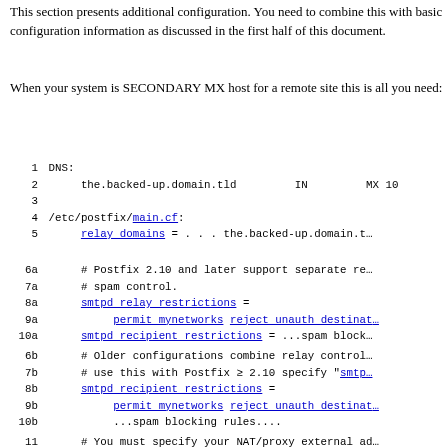This section presents additional configuration. You need to combine this with basic configuration information as discussed in the first half of this document.
When your system is SECONDARY MX host for a remote site this is all you need:
1 DNS:
2      the.backed-up.domain.tld         IN         MX 10
3
4 /etc/postfix/main.cf:
5      relay_domains = . . . the.backed-up.domain.tld

6a     # Postfix 2.10 and later support separate re...
7a     # spam control.
8a     smtpd_relay_restrictions =
9a          permit_mynetworks reject_unauth_destinat...
10a    smtpd_recipient_restrictions = ...spam block...

6b     # Older configurations combine relay control...
7b     # use this with Postfix >= 2.10 specify "smtp...
8b     smtpd_recipient_restrictions =
9b          permit_mynetworks reject_unauth_destinat...
10b         ...spam blocking rules....

11     # You must specify your NAT/proxy external ad...
12     # ...